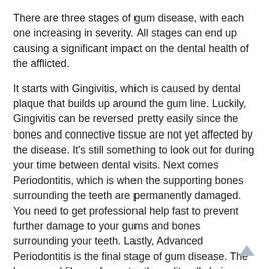There are three stages of gum disease, with each one increasing in severity. All stages can end up causing a significant impact on the dental health of the afflicted.
It starts with Gingivitis, which is caused by dental plaque that builds up around the gum line. Luckily, Gingivitis can be reversed pretty easily since the bones and connective tissue are not yet affected by the disease. It’s still something to look out for during your time between dental visits. Next comes Periodontitis, which is when the supporting bones surrounding the teeth are permanently damaged. You need to get professional help fast to prevent further damage to your gums and bones surrounding your teeth. Lastly, Advanced Periodontitis is the final stage of gum disease. The bones and fibers of your teeth are literally being destroyed at this point. If you are looking for a periodontist in Fairfield County, CT, look no further than Stamford Periodontics & Implant Dentistry Center, LLC.